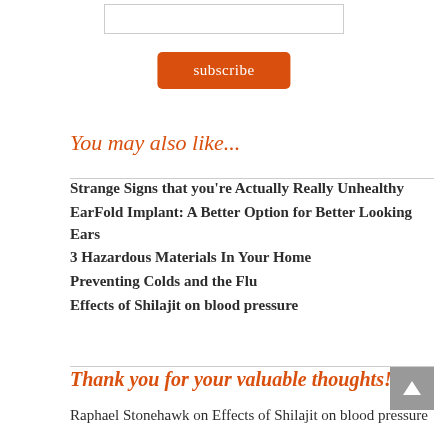[Figure (other): Input text field (subscribe form)]
[Figure (other): Subscribe button (orange rounded rectangle)]
You may also like...
Strange Signs that you're Actually Really Unhealthy
EarFold Implant: A Better Option for Better Looking Ears
3 Hazardous Materials In Your Home
Preventing Colds and the Flu
Effects of Shilajit on blood pressure
Thank you for your valuable thoughts!
Raphael Stonehawk on Effects of Shilajit on blood pressure